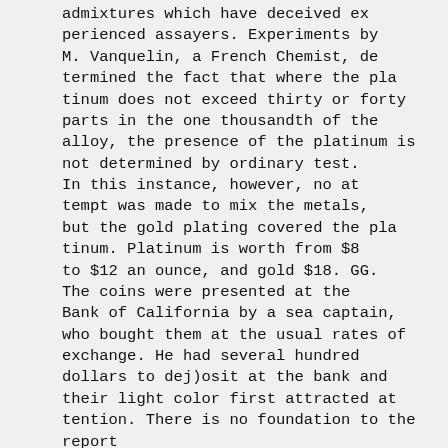admixtures which have deceived ex perienced assayers. Experiments by M. Vanquelin, a French Chemist, de termined the fact that where the pla tinum does not exceed thirty or forty parts in the one thousandth of the alloy, the presence of the platinum is not determined by ordinary test. In this instance, however, no at tempt was made to mix the metals, but the gold plating covered the pla tinum. Platinum is worth from $8 to $12 an ounce, and gold $18. GG. The coins were presented at the Bank of California by a sea captain, who bought them at the usual rates of exchange. He had several hundred dollars to dej)osit at the bank and their light color first attracted at tention. There is no foundation to the report that the counterfeiting was executed on this coast. The government offi cials here know nothing of it except from the "Washington dispatch, and have received no orders to investigate